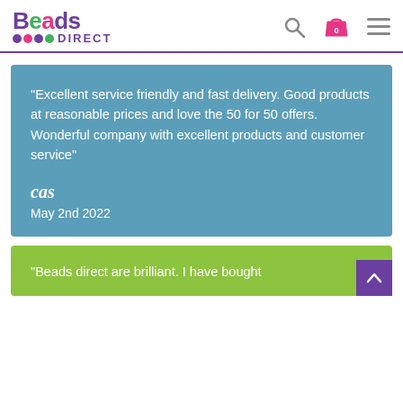Beads Direct
"Excellent service friendly and fast delivery. Good products at reasonable prices and love the 50 for 50 offers. Wonderful company with excellent products and customer service"
cas
May 2nd 2022
"Beads direct are brilliant. I have bought